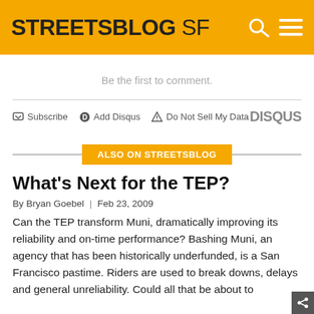STREETSBLOG SF
Be the first to comment.
Subscribe  Add Disqus  Do Not Sell My Data  DISQUS
ALSO ON STREETSBLOG
What's Next for the TEP?
By Bryan Goebel | Feb 23, 2009
Can the TEP transform Muni, dramatically improving its reliability and on-time performance? Bashing Muni, an agency that has been historically underfunded, is a San Francisco pastime. Riders are used to break downs, delays and general unreliability. Could all that be about to